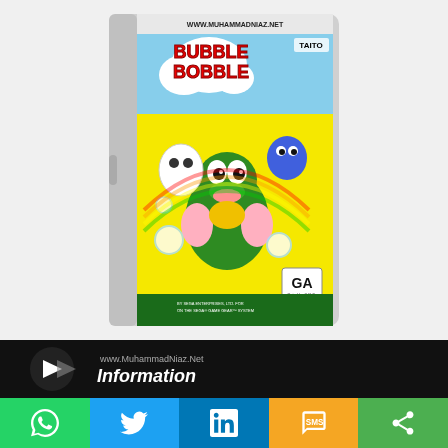[Figure (illustration): Bubble Bobble Sega Game Gear game case cover art showing cartoon dragons and characters on a colorful yellow background, with TAITO logo and GA rating badge. Watermark text WWW.MUHAMMADNIAZ.NET at top.]
[Figure (infographic): Dark banner with arrow/play button icon on left, text 'www.MuhammadNiaz.Net INFORMATION' in white on black background.]
[Figure (infographic): Social sharing bar with five colored buttons: WhatsApp (green), Twitter (blue), LinkedIn (dark blue), SMS (orange/yellow), Share (green), each with respective icon.]